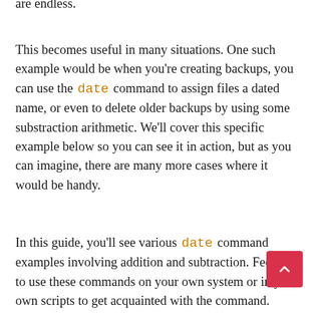are endless.
This becomes useful in many situations. One such example would be when you're creating backups, you can use the date command to assign files a dated name, or even to delete older backups by using some substraction arithmetic. We'll cover this specific example below so you can see it in action, but as you can imagine, there are many more cases where it would be handy.
In this guide, you'll see various date command examples involving addition and subtraction. Feel free to use these commands on your own system or in your own scripts to get acquainted with the command.